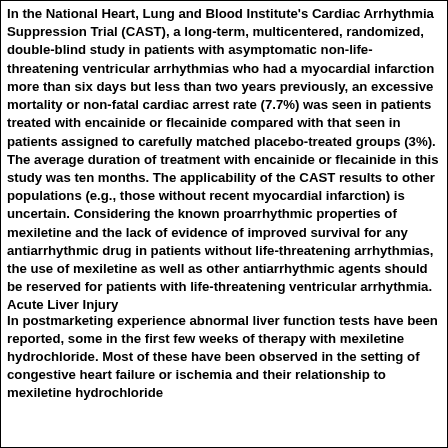In the National Heart, Lung and Blood Institute's Cardiac Arrhythmia Suppression Trial (CAST), a long-term, multicentered, randomized, double-blind study in patients with asymptomatic non-life-threatening ventricular arrhythmias who had a myocardial infarction more than six days but less than two years previously, an excessive mortality or non-fatal cardiac arrest rate (7.7%) was seen in patients treated with encainide or flecainide compared with that seen in patients assigned to carefully matched placebo-treated groups (3%). The average duration of treatment with encainide or flecainide in this study was ten months. The applicability of the CAST results to other populations (e.g., those without recent myocardial infarction) is uncertain. Considering the known proarrhythmic properties of mexiletine and the lack of evidence of improved survival for any antiarrhythmic drug in patients without life-threatening arrhythmias, the use of mexiletine as well as other antiarrhythmic agents should be reserved for patients with life-threatening ventricular arrhythmia.
Acute Liver Injury
In postmarketing experience abnormal liver function tests have been reported, some in the first few weeks of therapy with mexiletine hydrochloride. Most of these have been observed in the setting of congestive heart failure or ischemia and their relationship to mexiletine hydrochloride